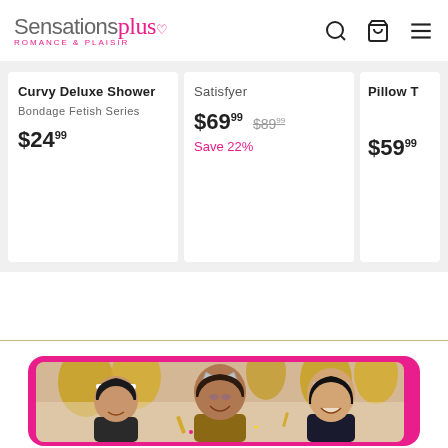Sensations plus - Romance & Plaisir
Curvy Deluxe Shower
Bondage Fetish Series
$24.99
Satisfyer
$69.99  $89.99  Save 22%
Pillow T
$59.99
[Figure (photo): Three women laughing and celebrating New Year's Eve with gold balloons and party accessories, one wearing a 'Happy New Year' tiara]